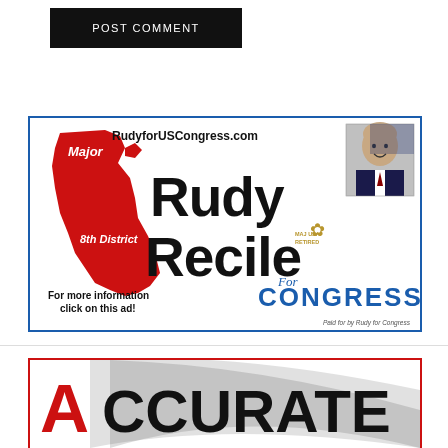POST COMMENT
[Figure (illustration): Political campaign advertisement for Major Rudy Recile for US Congress, 8th District. Features California state map in red, candidate photo, website RudyforUSCongress.com, and text 'For more information click on this ad!' and 'Paid for by Rudy for Congress'.]
[Figure (logo): Accurate logo - partial view showing red letter A and stylized swoosh with ACCURATE text]